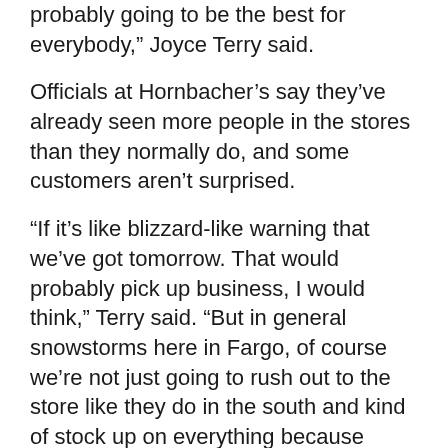probably going to be the best for everybody,” Joyce Terry said.
Officials at Hornbacher’s say they’ve already seen more people in the stores than they normally do, and some customers aren’t surprised.
“If it’s like blizzard-like warning that we’ve got tomorrow. That would probably pick up business, I would think,” Terry said. “But in general snowstorms here in Fargo, of course we’re not just going to rush out to the store like they do in the south and kind of stock up on everything because we’re pretty much prepared here.”
And for those that are used to the weather in Florida, it’s a much different story.